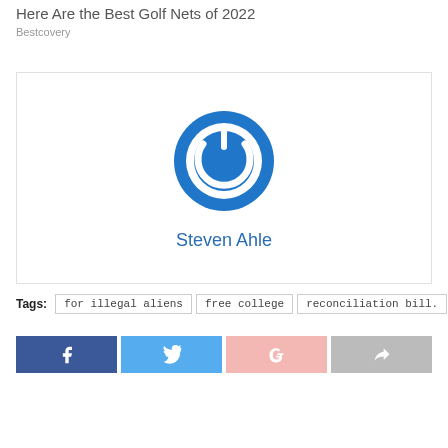Here Are the Best Golf Nets of 2022
Bestcovery
[Figure (logo): Blue circular power button icon — author avatar for Steven Ahle]
Steven Ahle
Tags: for illegal aliens  free college  reconciliation bill.
[Figure (infographic): Social share buttons: Facebook (dark blue, f icon), Twitter (light blue, bird icon), Google+ (pink, G+ icon), Share (grey, arrow icon)]